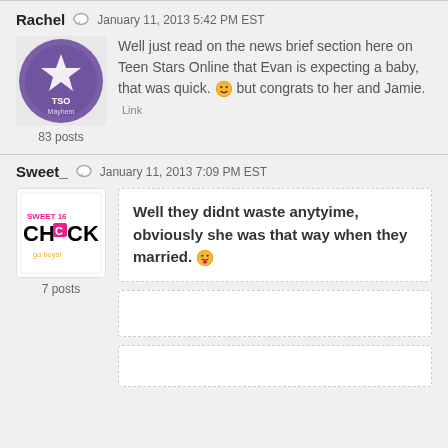Rachel  January 11, 2013 5:42 PM EST
[Figure (illustration): Purple circular avatar with star/logo design for user Rachel, TSO Mayhem]
83 posts
Well just read on the news brief section here on Teen Stars Online that Evan is expecting a baby, that was quick. 😊 but congrats to her and Jamie.  Link
Sweet_  January 11, 2013 7:09 PM EST
[Figure (illustration): White square avatar with Sweet 16 Chick logo for user Sweet_]
7 posts
Well they didnt waste anytyime, obviously she was that way when they married. 😛